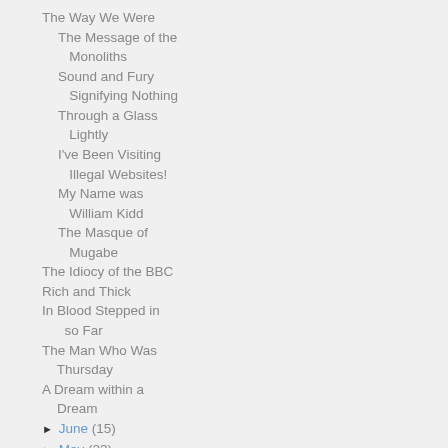The Way We Were
The Message of the Monoliths
Sound and Fury Signifying Nothing
Through a Glass Lightly
I've Been Visiting Illegal Websites!
My Name was William Kidd
The Masque of Mugabe
The Idiocy of the BBC
Rich and Thick
In Blood Stepped in so Far
The Man Who Was Thursday
A Dream within a Dream
► June (15)
► May (23)
► April (21)
► March (20)
► February (20)
► January (15)
► 2011 (246)
► 2010 (605)
► 2009 (617)